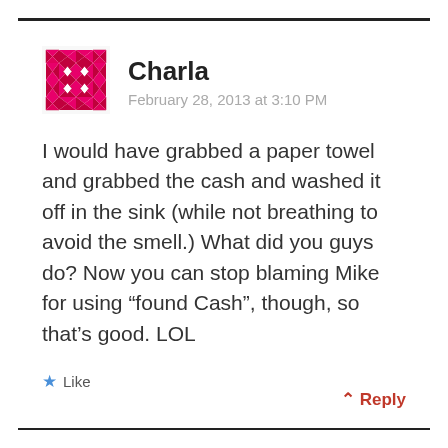[Figure (illustration): Red and pink decorative geometric/diamond pattern avatar icon for user Charla]
Charla
February 28, 2013 at 3:10 PM
I would have grabbed a paper towel and grabbed the cash and washed it off in the sink (while not breathing to avoid the smell.) What did you guys do? Now you can stop blaming Mike for using “found Cash”, though, so that’s good. LOL
★ Like
⌃ Reply